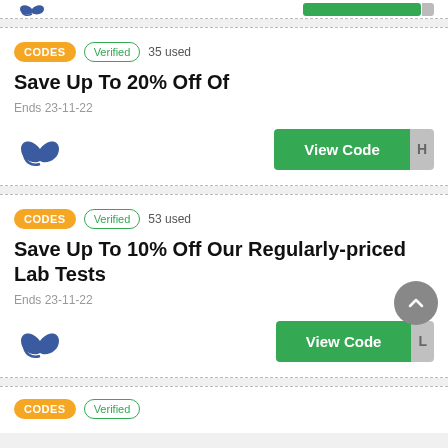[Figure (screenshot): Top strip showing partial coupon card with logo and green button]
CODES | Verified | 35 used | Save Up To 20% Off Of | Ends 23-11-22 | View Code
CODES | Verified | 53 used | Save Up To 10% Off Our Regularly-priced Lab Tests | Ends 23-11-22 | View Code
CODES | Verified | (partial, cut off at bottom)